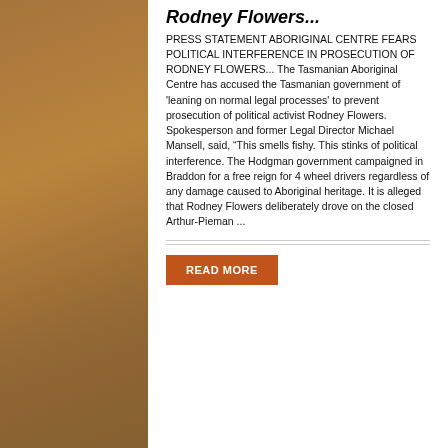Rodney Flowers...
PRESS STATEMENT ABORIGINAL CENTRE FEARS POLITICAL INTERFERENCE IN PROSECUTION OF RODNEY FLOWERS... The Tasmanian Aboriginal Centre has accused the Tasmanian government of 'leaning on normal legal processes' to prevent prosecution of political activist Rodney Flowers. Spokesperson and former Legal Director Michael Mansell, said, "This smells fishy. This stinks of political interference. The Hodgman government campaigned in Braddon for a free reign for 4 wheel drivers regardless of any damage caused to Aboriginal heritage. It is alleged that Rodney Flowers deliberately drove on the closed Arthur-Pieman ...
READ MORE